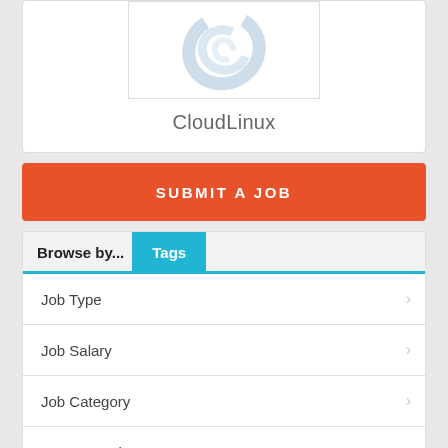[Figure (logo): CloudLinux logo - a swirl/tornado icon in light blue-gray tones inside a bordered box]
CloudLinux
SUBMIT A JOB
Browse by...  Tags
Job Type
Job Salary
Job Category
Date posted